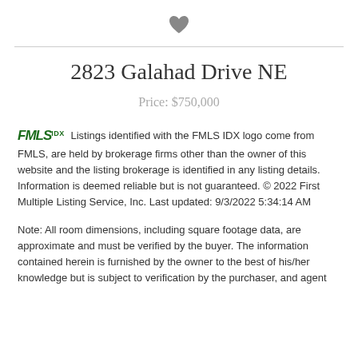[Figure (illustration): Heart icon (favorite/bookmark symbol) centered at top of page]
2823 Galahad Drive NE
Price: $750,000
Listings identified with the FMLS IDX logo come from FMLS, are held by brokerage firms other than the owner of this website and the listing brokerage is identified in any listing details. Information is deemed reliable but is not guaranteed. © 2022 First Multiple Listing Service, Inc. Last updated: 9/3/2022 5:34:14 AM
Note: All room dimensions, including square footage data, are approximate and must be verified by the buyer. The information contained herein is furnished by the owner to the best of his/her knowledge but is subject to verification by the purchaser, and agent